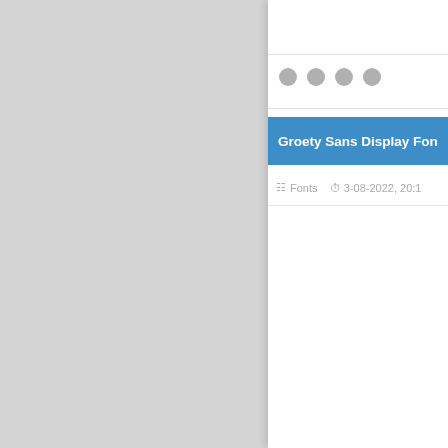[Figure (screenshot): Partial screenshot of a website or app UI showing a card/panel on the right side with a grey background on the left. The card has a top bar, four grey dots, a blue title bar reading 'Groety Sans Display Fon' (truncated), and a metadata row with 'Fonts' category and date '3-08-2022, 20:1' (truncated).]
Groety Sans Display Fon
Fonts   3-08-2022, 20:1